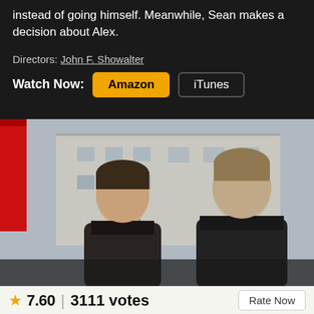instead of going himself. Meanwhile, Sean makes a decision about Alex.
Directors: John F. Showalter
Watch Now: Amazon | iTunes
[Figure (photo): Two men in black leather jackets seated outdoors, with a red umbrella on the left and a large building in the background.]
★ 7.60 | 3111 votes | Rate Now